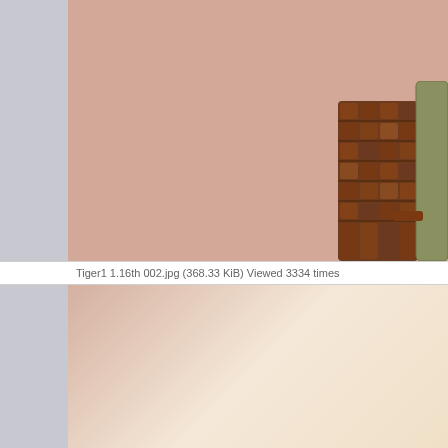[Figure (photo): Close-up photo of a model or figurine with a wicker/basket-weave textured cylindrical object in the lower right, against a salmon/peach colored background]
Tiger1 1.16th 002.jpg (368.33 KiB) Viewed 3334 times
[Figure (photo): Second photo with a light peach to cream gradient background, appears to be another shot related to the same subject]